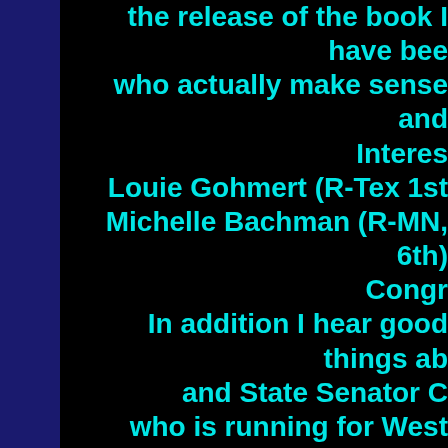the release of the book I have been who actually make sense and Interes Louie Gohmert (R-Tex 1st Michelle Bachman (R-MN, 6th) Congr In addition I hear good things ab and State Senator C who is running for West Virginia 201 As I promised on the same page I in the Republican party in disg thems in the 2008 election. I am now a "R calli for all politicians to be removed, r mov to rule the nation of America mor God's HOWEVER IT APPEARS THERE JANUARY